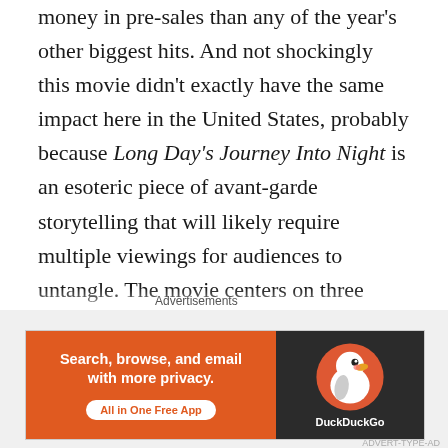money in pre-sales than any of the year's other biggest hits. And not shockingly this movie didn't exactly have the same impact here in the United States, probably because Long Day's Journey Into Night is an esoteric piece of avant-garde storytelling that will likely require multiple viewings for audiences to untangle. The movie centers on three characters: Luo (Huang Jue), a man haunted by his youth; Luo's long-lost lover, Wan Qiwen (Tang Wei); and a childhood pal named Wildcat (Lee Hong-Chi), who was murdered. Roughly twenty years after Wildcat's death, Luo tries to find Qiwen again and dig into the mystery of what happened between them
Advertisements
[Figure (other): DuckDuckGo advertisement banner with orange left panel reading 'Search, browse, and email with more privacy. All in One Free App' and dark right panel showing DuckDuckGo duck logo and brand name.]